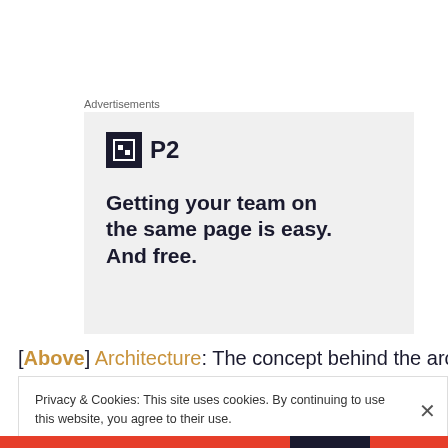Advertisements
[Figure (illustration): P2 advertisement: logo with dark square icon and 'P2' text, tagline 'Getting your team on the same page is easy. And free.' on light gray background]
[Above] Architecture: The concept behind the architectural
Privacy & Cookies: This site uses cookies. By continuing to use this website, you agree to their use.
To find out more, including how to control cookies, see here: Cookie Policy
Close and accept